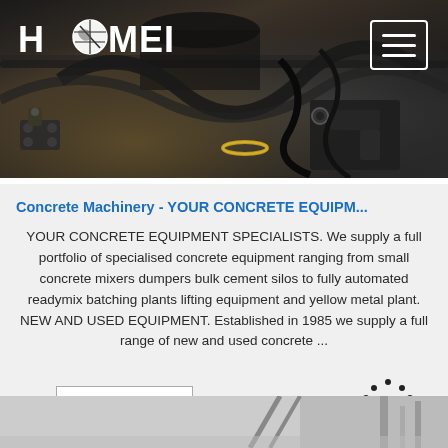[Figure (photo): Close-up photo of industrial concrete machinery parts — dark metal pipes, hoses, fittings and bolts, with HAOMEI logo in white top-left and a hamburger menu button top-right]
Concrete Machinery - YOUR CONCRETE EQUIPM...
YOUR CONCRETE EQUIPMENT SPECIALISTS. We supply a full portfolio of specialised concrete equipment ranging from small concrete mixers dumpers bulk cement silos to fully automated readymix batching plants lifting equipment and yellow metal plant. NEW AND USED EQUIPMENT. Established in 1985 we supply a full range of new and used concrete ...
[Figure (other): Get Price button (white rectangle with border) and TOP badge (dotted arc above bold TOP text)]
[Figure (photo): Partial view of concrete machinery equipment at the bottom of the page]